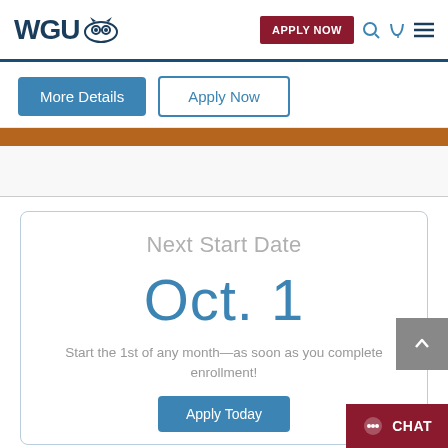WGU
More Details   Apply Now
Next Start Date
Oct. 1
Start the 1st of any month—as soon as you complete enrollment!
Apply Today
CHAT